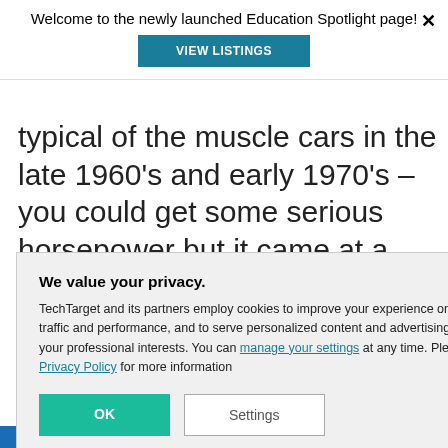Welcome to the newly launched Education Spotlight page!
VIEW LISTINGS
typical of the muscle cars in the late 1960's and early 1970's – you could get some serious horsepower but it came at a cost of beer and pizza money.
eeing a huge see from Figure ever since the
We value your privacy.
TechTarget and its partners employ cookies to improve your experience on our site, to analyze traffic and performance, and to serve personalized content and advertising that are relevant to your professional interests. You can manage your settings at any time. Please view our Privacy Policy for more information
OK
Settings
SC Members